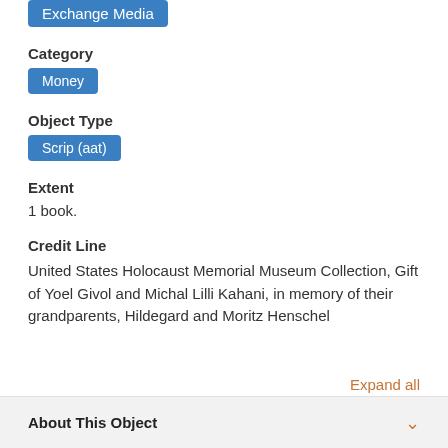Exchange Media
Category
Money
Object Type
Scrip (aat)
Extent
1 book.
Credit Line
United States Holocaust Memorial Museum Collection, Gift of Yoel Givol and Michal Lilli Kahani, in memory of their grandparents, Hildegard and Moritz Henschel
Expand all
About This Object